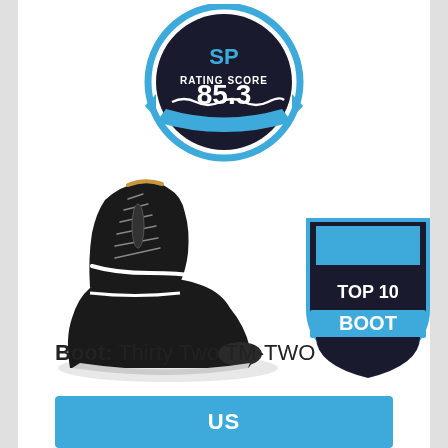[Figure (logo): SP Rating Score badge with score 85.3 in a circular blue and black design]
[Figure (photo): Black snowboard boot - Thirty Two TM-TWO]
[Figure (logo): SP Top 10 Boot badge in blue and black shield design with mountain icon]
Boot: Thirty Two TM-TWO
US